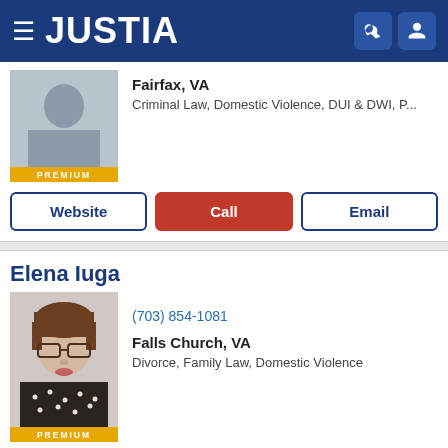JUSTIA
Fairfax, VA
Criminal Law, Domestic Violence, DUI & DWI, P...
Website | Call | Email
Elena Iuga
[Figure (photo): Headshot photo of Elena Iuga, a woman with glasses and dark clothing, labeled PREMIUM]
(703) 854-1081
Falls Church, VA
Divorce, Family Law, Domestic Violence
Website | Call | Email
James M. Sack
[Figure (photo): Partial headshot photo of James M. Sack]